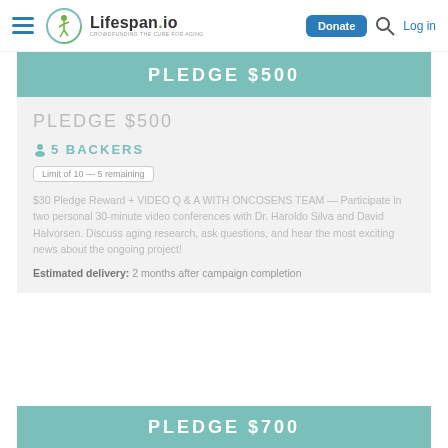Lifespan.io — Donate | Log in
PLEDGE $500
PLEDGE $500
5 BACKERS
Limit of 10 — 5 remaining
$30 Pledge Reward + VIDEO Q & A WITH ONCOSENS TEAM — Participate in two personal 30-minute video conferences with Dr. Haroldo Silva and David Halvorsen. Discuss aging research, ask questions, and hear the most exciting news about the ongoing project!
Estimated delivery: 2 months after campaign completion
PLEDGE $700